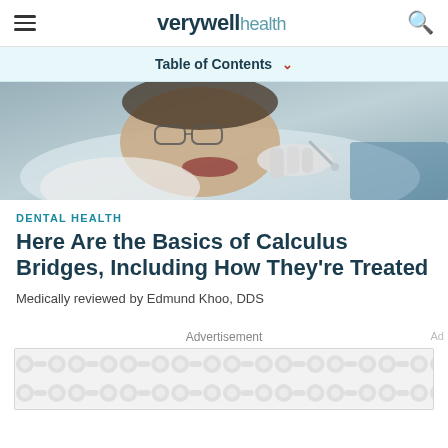verywell health
Table of Contents
[Figure (photo): A patient lying down with mouth open receiving dental treatment, a dental professional in gloves working on the patient's teeth.]
DENTAL HEALTH
Here Are the Basics of Calculus Bridges, Including How They're Treated
Medically reviewed by Edmund Khoo, DDS
Advertisement
[Figure (other): Advertisement placeholder with repeating circular pattern.]